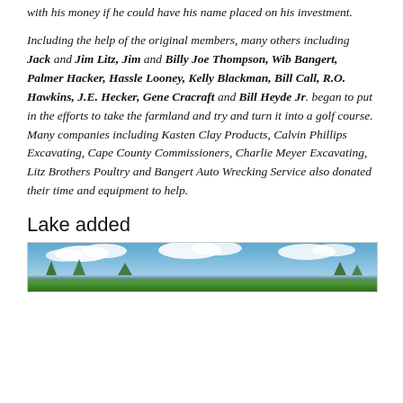with his money if he could have his name placed on his investment.
Including the help of the original members, many others including Jack and Jim Litz, Jim and Billy Joe Thompson, Wib Bangert, Palmer Hacker, Hassle Looney, Kelly Blackman, Bill Call, R.O. Hawkins, J.E. Hecker, Gene Cracraft and Bill Heyde Jr. began to put in the efforts to take the farmland and try and turn it into a golf course. Many companies including Kasten Clay Products, Calvin Phillips Excavating, Cape County Commissioners, Charlie Meyer Excavating, Litz Brothers Poultry and Bangert Auto Wrecking Service also donated their time and equipment to help.
Lake added
[Figure (photo): Outdoor photo showing sky with clouds and trees at the bottom, likely showing the golf course or lake area]